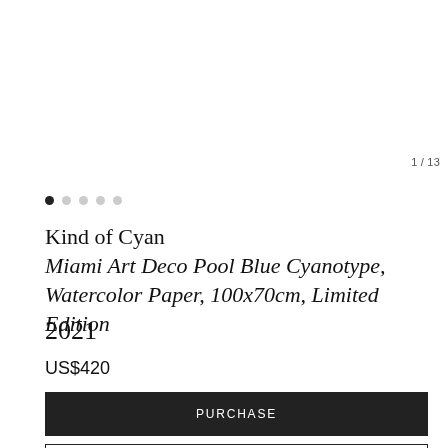[Figure (photo): Blue pool water with white wave ripples and grid tile pattern beneath, cyanotype style artwork]
1 / 13
Kind of Cyan
Miami Art Deco Pool Blue Cyanotype, Watercolor Paper, 100x70cm, Limited Edition
2021
US$420
PURCHASE
MAKE AN OFFER